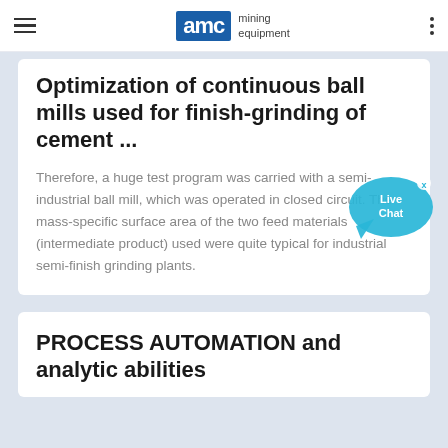AMC mining equipment
Optimization of continuous ball mills used for finish-grinding of cement ...
Therefore, a huge test program was carried with a semi-industrial ball mill, which was operated in closed circuit. The mass-specific surface area of the two feed materials (intermediate product) used were quite typical for industrial semi-finish grinding plants.
PROCESS AUTOMATION and analytic abilities